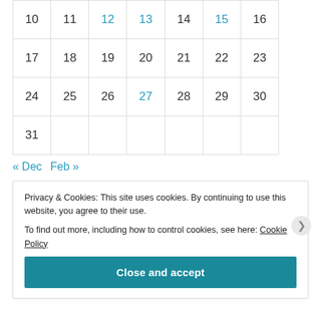| 10 | 11 | 12 | 13 | 14 | 15 | 16 |
| 17 | 18 | 19 | 20 | 21 | 22 | 23 |
| 24 | 25 | 26 | 27 | 28 | 29 | 30 |
| 31 |  |  |  |  |  |  |
« Dec   Feb »
Archives
Privacy & Cookies: This site uses cookies. By continuing to use this website, you agree to their use.
To find out more, including how to control cookies, see here: Cookie Policy
Close and accept